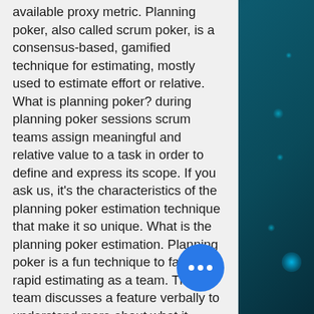available proxy metric. Planning poker, also called scrum poker, is a consensus-based, gamified technique for estimating, mostly used to estimate effort or relative. What is planning poker? during planning poker sessions scrum teams assign meaningful and relative value to a task in order to define and express its scope. If you ask us, it's the characteristics of the planning poker estimation technique that make it so unique. What is the planning poker estimation. Planning poker is a fun technique to facilitate rapid estimating as a team. The team discusses a feature verbally to understand more about what it entails. Further detailed reading on planning poker estimation technique. An agile team is using relative sizing to estimate for stories on the backlog. What are the most common units of estimates used? a. Days / weeks / mo... Points are a relative metric · points shou... consider more than effort. Complexity · how...